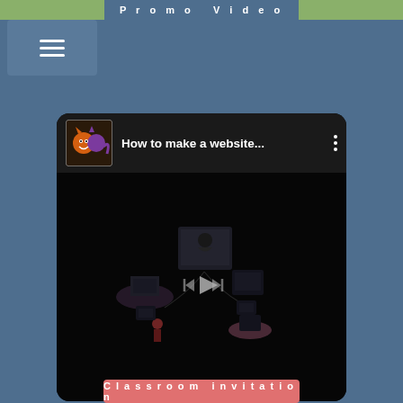Promo Video
[Figure (screenshot): YouTube-style embedded video player with title 'How to make a website...' and a dark thumbnail showing an isometric illustration with a play button overlay. The video header shows a pixel art logo of a monster character and three dots menu icon.]
Promo Video